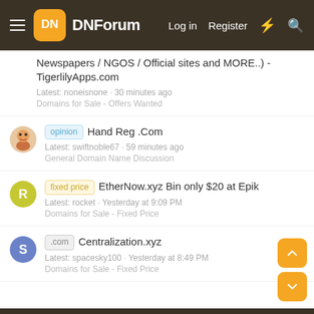DNForum | Log in | Register
Newspapers / NGOS / Official sites and MORE..) - TigerlilyApps.com | Latest: noneisnone · 30 minutes ago | Domains for Sale - Offers Wanted
[opinion] Hand Reg .Com | Latest: swiftnoble67 · 59 minutes ago | General Domain Name Discussion
[fixed price] EtherNow.xyz Bin only $20 at Epik | Latest: rocket · Yesterday at 9:09 PM | Domains for Sale - Fixed Price
[.com] Centralization.xyz | Latest: spacesky100 · Yesterday at 8:49 PM | Domains for Sale - Fixed Price